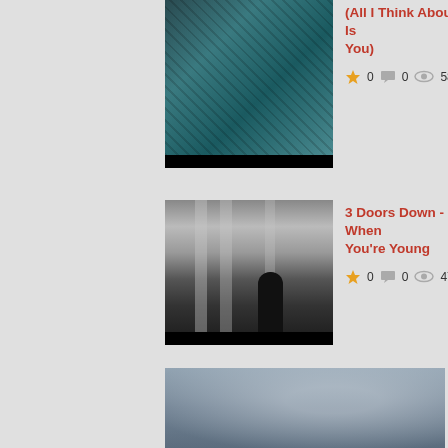[Figure (screenshot): Partial thumbnail at top - teal/blue aerial view with black border]
(All I Think About Is You)
★ 0  □ 0  👁 587
[Figure (screenshot): Partial album cover on right - The Doors very best]
[Figure (photo): Black and white photo of person looking up at classical architecture with pillars]
3 Doors Down - When You're Young
★ 0  □ 0  👁 471
[Figure (screenshot): Partial photo on right - woman in white dress]
[Figure (screenshot): Black background with white lyrics text: Please would you one time / Let me be myself / So I can shine with my own light / Let me be myself / For a while, if you don't mind / Let me be myself / So I can shine with my own light / Let me be myself / Would you one time... oooh / Let me be myself / Let me be me]
3 Doors Down- Let Me Be Myself (lyrics) w/download
★ 0  □ 0  👁 596
[Figure (photo): Partial thumbnail at bottom - blue-grey blurry image]